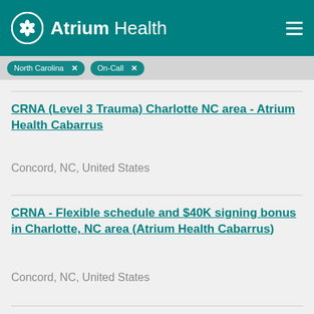Atrium Health
North Carolina  On-Call
CRNA (Level 3 Trauma) Charlotte NC area - Atrium Health Cabarrus
Concord, NC, United States
CRNA - Flexible schedule and $40K signing bonus in Charlotte, NC area (Atrium Health Cabarrus)
Concord, NC, United States